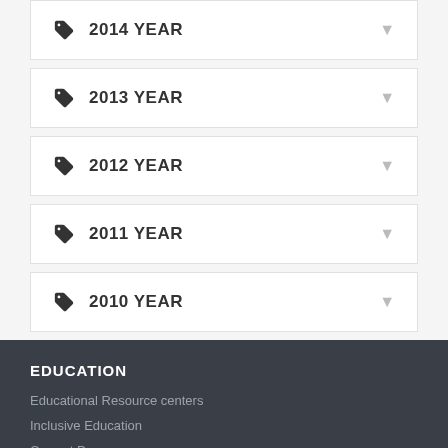2014 YEAR
2013 YEAR
2012 YEAR
2011 YEAR
2010 YEAR
EDUCATION
Educational Resource centers
Inclusive Education
Current Programs
NATIONAL CURRICULUM
TEXTBOOK / SERIES APPROVAL